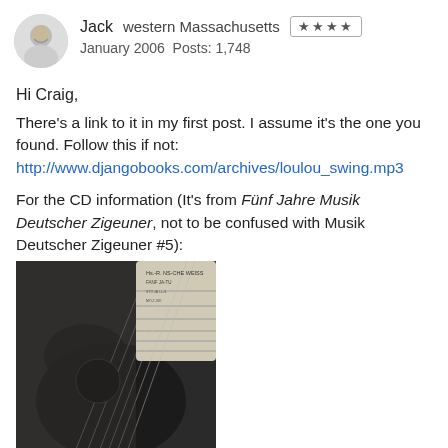Jack  western Massachusetts  ★★★★  January 2006  Posts: 1,748
Hi Craig,
There's a link to it in my first post. I assume it's the one you found. Follow this if not:
http://www.djangobooks.com/archives/loulou_swing.mp3
For the CD information (It's from Fünf Jahre Musik Deutscher Zigeuner, not to be confused with Musik Deutscher Zigeuner #5):
[Figure (photo): Photo of a guitar with glittery dark finish, likely a CD cover for Fünf Jahre Musik Deutscher Zigeuner. Text visible on upper portion reads Hs.-R. NS-CHE WEISS.]
http://www.djangostation.com/article.ph … rticle=258